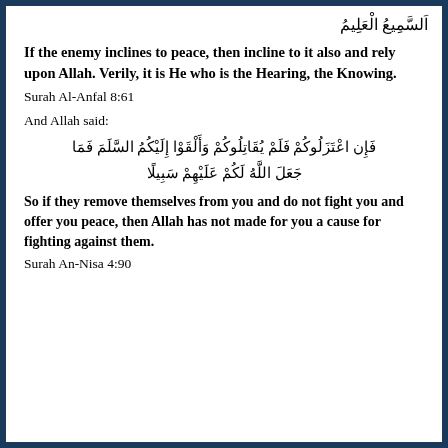السَّمِيعُ الْعَلِيمُ
If the enemy inclines to peace, then incline to it also and rely upon Allah. Verily, it is He who is the Hearing, the Knowing.
Surah Al-Anfal 8:61
And Allah said:
فَإِن اعْتَزَلُوكُمْ فَلَمْ يُقَاتِلُوكُمْ وَأَلْقَوْا إِلَيْكُمُ السَّلَمَ فَمَا جَعَلَ اللَّهُ لَكُمْ عَلَيْهِمْ سَبِيلًا
So if they remove themselves from you and do not fight you and offer you peace, then Allah has not made for you a cause for fighting against them.
Surah An-Nisa 4:90